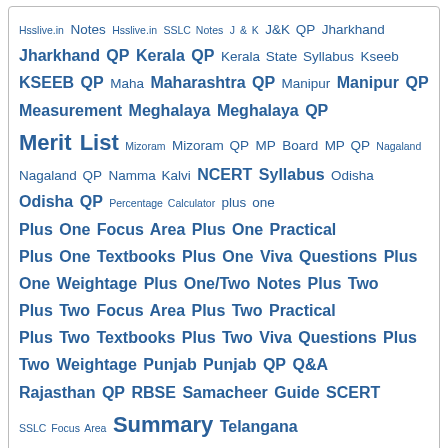Hsslive.in Notes Hsslive.in SSLC Notes J & K J&K QP Jharkhand Jharkhand QP Kerala QP Kerala State Syllabus Kseeb KSEEB QP Maha Maharashtra QP Manipur Manipur QP Measurement Meghalaya Meghalaya QP Merit List Mizoram Mizoram QP MP Board MP QP Nagaland Nagaland QP Namma Kalvi NCERT Syllabus Odisha Odisha QP Percentage Calculator plus one Plus One Focus Area Plus One Practical Plus One Textbooks Plus One Viva Questions Plus One Weightage Plus One/Two Notes Plus Two Plus Two Focus Area Plus Two Practical Plus Two Textbooks Plus Two Viva Questions Plus Two Weightage Punjab Punjab QP Q&A Rajasthan QP RBSE Samacheer Guide SCERT SSLC Focus Area Summary Telangana Thiruvananthapuram Educational District Worksheets TN Books TN QP Travel Tripura Tripura QP UK Board UK QP UP UP QP West Begal West Bengal QP
Class 12 Teacher Text
SCERT Kerala Teacher Text STD 12
SCERT Kerala Teacher Text 12 Physics
SCERT Kerala Teacher Text 12 Chemistry
SCERT Kerala Teacher Text 12 Mathematics